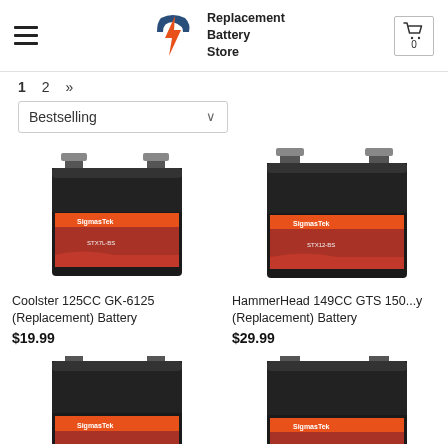Replacement Battery Store
1  2  »
Bestselling
[Figure (photo): SigmasTek battery product image for Coolster 125CC GK-6125 replacement battery]
Coolster 125CC GK-6125 (Replacement) Battery
$19.99
[Figure (photo): SigmasTek battery product image for HammerHead 149CC GTS 150...y replacement battery]
HammerHead 149CC GTS 150...y (Replacement) Battery
$29.99
[Figure (photo): SigmasTek battery product image, partially visible at bottom of page]
[Figure (photo): SigmasTek battery product image, partially visible at bottom of page]